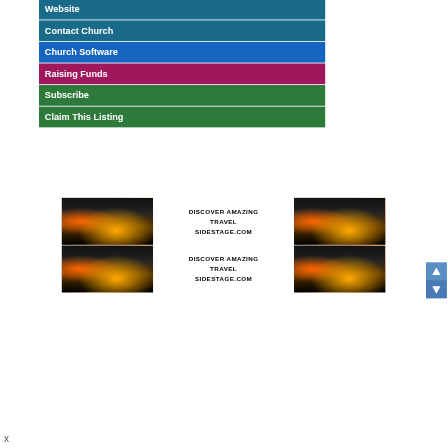Website
Contact Church
Church Software
Raising Funds
Subscribe
Claim This Listing
[Figure (infographic): Advertisement banner showing 'DISCOVER AMAZING TRAVEL SIDESTAGE.COM' with sunset/coastal landscape images on left and right, displayed twice in a 2x2 grid layout]
[Figure (infographic): Scroll up/down navigation buttons in blue]